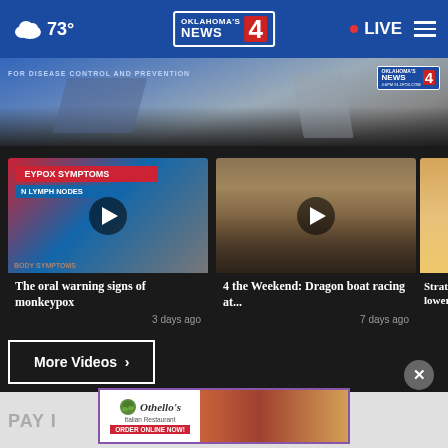73° | Oklahoma's News 4 | LIVE
[Figure (screenshot): Banner image showing news broadcast with text 'FOR DISEASE CONTROL AND PREVENTION' and Oklahoma's News 4 logo]
[Figure (screenshot): Video thumbnail: MONKEYPOX SYMPTOMS graphic with lymph nodes label and play button. Title: The oral warning signs of monkeypox. 3 days ago]
[Figure (screenshot): Video thumbnail: Dragon boat racing aerial view with play button. Title: 4 the Weekend: Dragon boat racing at... 7 days ago]
[Figure (screenshot): Partially visible third video thumbnail]
More Videos ›
PAY I
[Figure (screenshot): Advertisement for Othello's Italian Restaurant - ORDER ONLINE NOW! with pizza and dessert images]
[Figure (screenshot): Close X button]